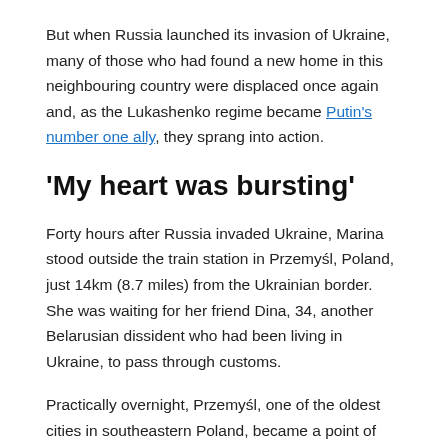But when Russia launched its invasion of Ukraine, many of those who had found a new home in this neighbouring country were displaced once again and, as the Lukashenko regime became Putin's number one ally, they sprang into action.
'My heart was bursting'
Forty hours after Russia invaded Ukraine, Marina stood outside the train station in Przemyśl, Poland, just 14km (8.7 miles) from the Ukrainian border. She was waiting for her friend Dina, 34, another Belarusian dissident who had been living in Ukraine, to pass through customs.
Practically overnight, Przemyśl, one of the oldest cities in southeastern Poland, became a point of refuge for hundreds of thousands of Ukrainians who arrived by bus and train with their hurriedly packed bags.